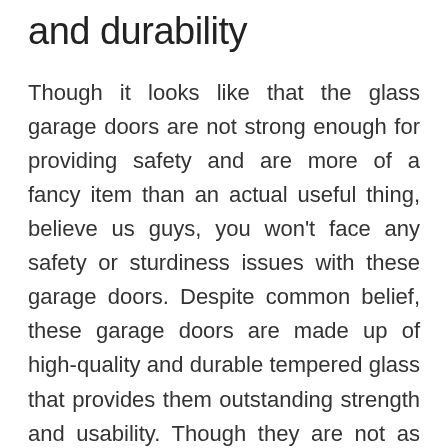and durability
Though it looks like that the glass garage doors are not strong enough for providing safety and are more of a fancy item than an actual useful thing, believe us guys, you won't face any safety or sturdiness issues with these garage doors. Despite common belief, these garage doors are made up of high-quality and durable tempered glass that provides them outstanding strength and usability. Though they are not as strong as the metal garage doors, they still are great for common home buyers who are decent performance and safety.